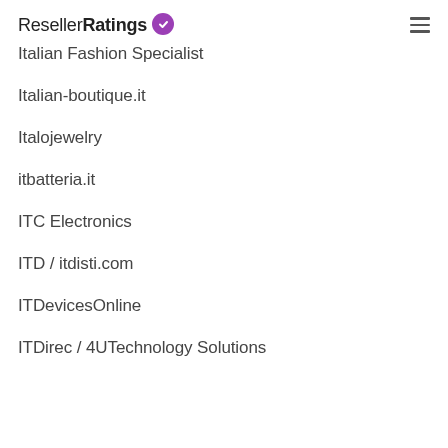ResellerRatings
Italian Fashion Specialist
Italian-boutique.it
Italojewelry
itbatteria.it
ITC Electronics
ITD / itdisti.com
ITDevicesOnline
ITDirec / 4UTechnology Solutions